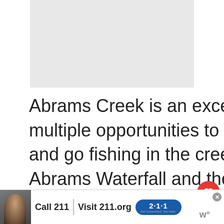[Figure (photo): Light gray placeholder image rectangle at the top of the page]
Abrams Creek is an excellent place to stay if you want multiple opportunities to camp alongside hiking trails and go fishing in the creek. There is quick access to the Abrams Waterfall and the
[Figure (infographic): What's Next panel showing thumbnail image with label 'WHAT'S NEXT →' and text 'The Best Campgroun...']
[Figure (infographic): Advertisement bar at the bottom: person image, 'Call 211 | Visit 211.org' with 2-1-1 badge logo, close button]